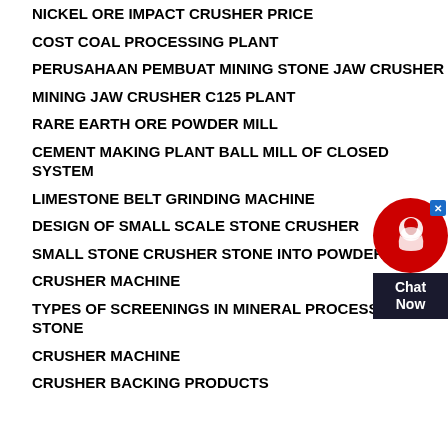NICKEL ORE IMPACT CRUSHER PRICE
COST COAL PROCESSING PLANT
PERUSAHAAN PEMBUAT MINING STONE JAW CRUSHER
MINING JAW CRUSHER C125 PLANT
RARE EARTH ORE POWDER MILL
CEMENT MAKING PLANT BALL MILL OF CLOSED SYSTEM
LIMESTONE BELT GRINDING MACHINE
DESIGN OF SMALL SCALE STONE CRUSHER
SMALL STONE CRUSHER STONE INTO POWDER STONE
CRUSHER MACHINE
TYPES OF SCREENINGS IN MINERAL PROCESSING STONE
CRUSHER MACHINE
CRUSHER BACKING PRODUCTS
[Figure (other): Live chat widget with red circular icon showing headset/person and dark label saying 'Chat Now' with a blue close button]